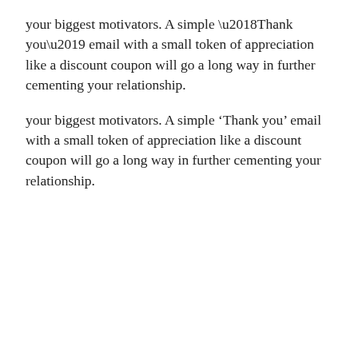your biggest motivators. A simple ‘Thank you’ email with a small token of appreciation like a discount coupon will go a long way in further cementing your relationship.
Offer holiday sales and discounts
Email marketing campaigns are futile unless you are giving something worth the readers time, and what’s better than sales and discounts? A study by Merkle reported that one-third of the shoppers said it is promotions that drive them to make holiday season purchases. Holidays bring in the joy of giving and it’s time you give your customers some enticing discounts and brilliant sales to celebrate with you. Make sure your subject line and call-to-action should tell the readers that these are for...